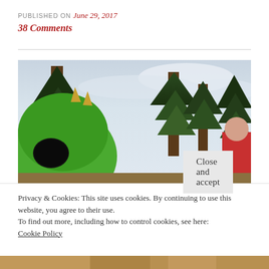PUBLISHED ON June 29, 2017
38 Comments
[Figure (photo): A person wearing a green alien mascot costume head with large black eyes and small horns, photographed outdoors against a cloudy sky with tall pine/evergreen trees in the background. A person in a red outfit is partially visible on the right.]
Privacy & Cookies: This site uses cookies. By continuing to use this website, you agree to their use.
To find out more, including how to control cookies, see here:
Cookie Policy
Close and accept